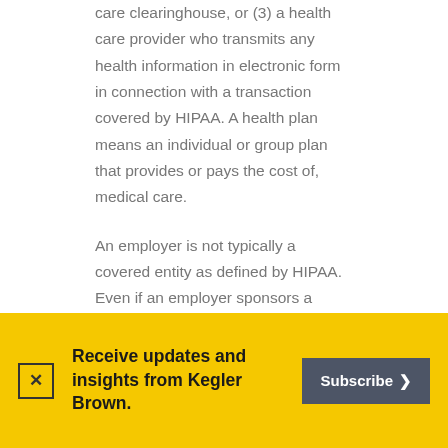care clearinghouse, or (3) a health care provider who transmits any health information in electronic form in connection with a transaction covered by HIPAA. A health plan means an individual or group plan that provides or pays the cost of, medical care.
An employer is not typically a covered entity as defined by HIPAA. Even if an employer sponsors a health plan, the health plan is still its own entity and requires its own compliance program. To the extent that an
Receive updates and insights from Kegler Brown.